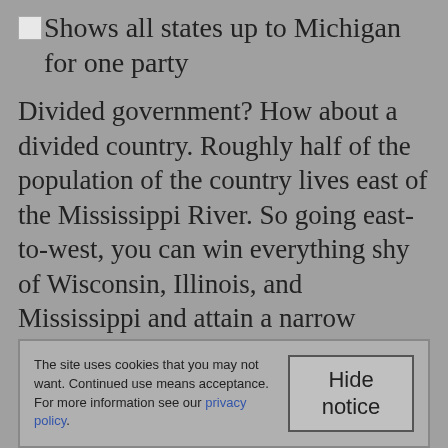Shows all states up to Michigan for one party
Divided government? How about a divided country. Roughly half of the population of the country lives east of the Mississippi River. So going east-to-west, you can win everything shy of Wisconsin, Illinois, and Mississippi and attain a narrow victory. It's 28 states (plus DC) for 272 votes.
The site uses cookies that you may not want. Continued use means acceptance. For more information see our privacy policy.